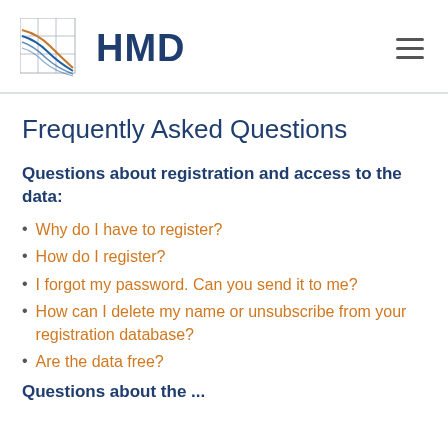HMD
Frequently Asked Questions
Questions about registration and access to the data:
Why do I have to register?
How do I register?
I forgot my password. Can you send it to me?
How can I delete my name or unsubscribe from your registration database?
Are the data free?
Questions about the ...